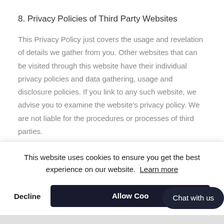8. Privacy Policies of Third Party Websites
This Privacy Policy just covers the usage and revelation of details we gather from you. Other websites that can be visited through this website have their individual privacy policies and data gathering, usage and disclosure policies. If you link to any such website, we advise you to examine the website’s privacy policy. We are not liable for the procedures or processes of third parties.
This website uses cookies to ensure you get the best experience on our website. Learn more
Decline  Allow Cookies  Chat with us